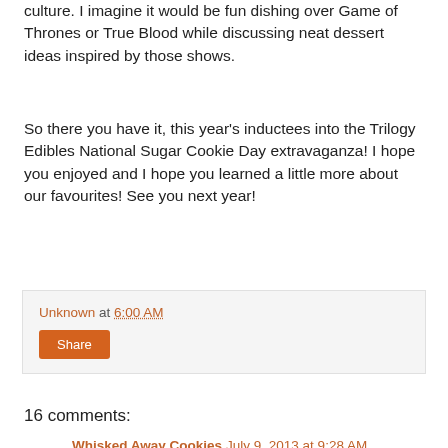culture. I imagine it would be fun dishing over Game of Thrones or True Blood while discussing neat dessert ideas inspired by those shows.
So there you have it, this year's inductees into the Trilogy Edibles National Sugar Cookie Day extravaganza!  I hope you enjoyed and I hope you learned a little more about our favourites!  See you next year!
Unknown at 6:00 AM
Share
16 comments:
Whisked Away Cookies  July 9, 2013 at 9:28 AM
This was so much fun to read and such a treat to be included in this wonderfully talented group of cookie artists! I love the work of everyone shown and it is so fun to learn